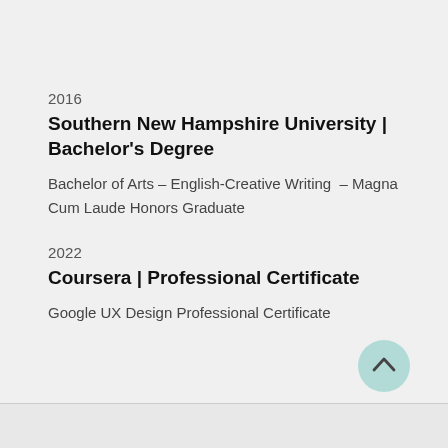2016
Southern New Hampshire University | Bachelor's Degree
Bachelor of Arts – English-Creative Writing  – Magna Cum Laude Honors Graduate
2022
Coursera | Professional Certificate
Google UX Design Professional Certificate
[Figure (other): Scroll-to-top button: a circular teal/mint button with an upward chevron arrow icon]